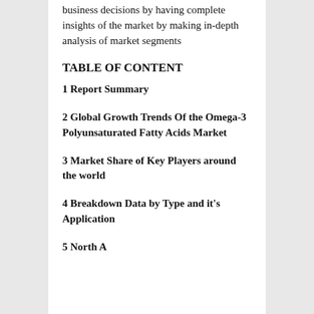business decisions by having complete insights of the market by making in-depth analysis of market segments
TABLE OF CONTENT
1 Report Summary
2 Global Growth Trends Of the Omega-3 Polyunsaturated Fatty Acids Market
3 Market Share of Key Players around the world
4 Breakdown Data by Type and it's Application
5 North A...